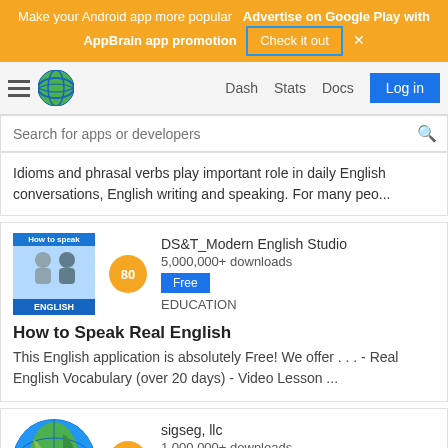[Figure (screenshot): AppBrain ad banner with orange background: 'Make your Android app more popular  Advertise on Google Play with AppBrain app promotion  Check it out  x']
[Figure (screenshot): Navigation bar with hamburger menu, globe logo, Dash, Stats, Docs links and Log in button]
[Figure (screenshot): Search bar: Search for apps or developers]
Idioms and phrasal verbs play important role in daily English conversations, English writing and speaking. For many peo...
[Figure (screenshot): App listing card: How to Speak Real English. Score 80, Free, DS&T_Modern English Studio, 5,000,000+ downloads, EDUCATION]
How to Speak Real English
This English application is absolutely Free! We offer . . . - Real English Vocabulary (over 20 days) - Video Lesson ...
[Figure (screenshot): App listing card: World Map. Score 76, Free, sigseg, llc, 1,000,000+ downloads, EDUCATION]
World Map
WorldMap is a simple Android app that displays a map of the world taken from...